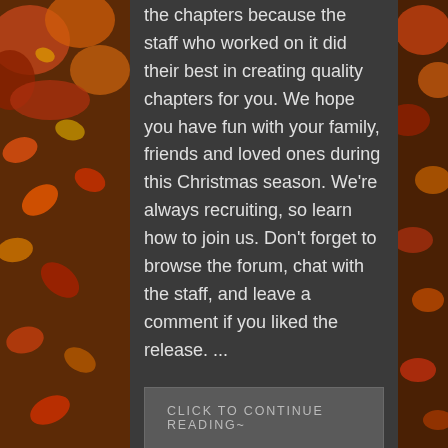the chapters because the staff who worked on it did their best in creating quality chapters for you. We hope you have fun with your family, friends and loved ones during this Christmas season. We're always recruiting, so learn how to join us. Don't forget to browse the forum, chat with the staff, and leave a comment if you liked the release. ...
CLICK TO CONTINUE READING~
THANKSGIVING DAY!
NOVEMBER 23, 2017
RELEASES, T.R.A.P.
[Figure (illustration): Orange background illustration with two anime characters wearing pilgrim hats, text '-HAPPY-' visible at bottom]
We are back with a